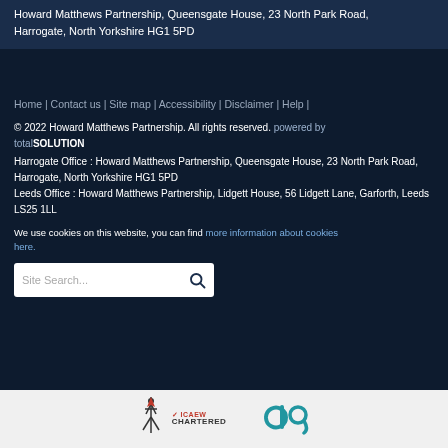Howard Matthews Partnership, Queensgate House, 23 North Park Road, Harrogate, North Yorkshire HG1 5PD
Home | Contact us | Site map | Accessibility | Disclaimer | Help |
© 2022 Howard Matthews Partnership. All rights reserved. powered by totalSOLUTION
Harrogate Office : Howard Matthews Partnership, Queensgate House, 23 North Park Road, Harrogate, North Yorkshire HG1 5PD
Leeds Office : Howard Matthews Partnership, Lidgett House, 56 Lidgett Lane, Garforth, Leeds LS25 1LL
We use cookies on this website, you can find more information about cookies here.
[Figure (other): Site Search input box with search icon]
[Figure (logo): ICAEW Chartered Accountants logo and CIO logo at bottom of page]